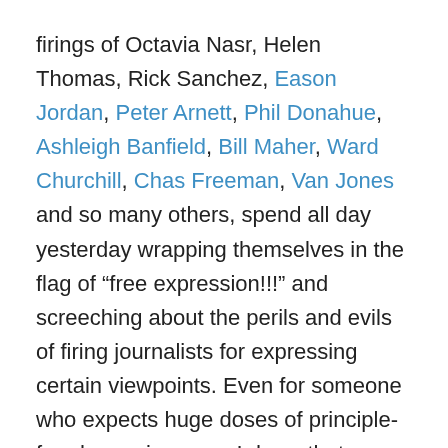firings of Octavia Nasr, Helen Thomas, Rick Sanchez, Eason Jordan, Peter Arnett, Phil Donahue, Ashleigh Banfield, Bill Maher, Ward Churchill, Chas Freeman, Van Jones and so many others, spend all day yesterday wrapping themselves in the flag of “free expression!!!” and screeching about the perils and evils of firing journalists for expressing certain viewpoints.  Even for someone who expects huge doses of principle-free hypocrisy — as I do — that behavior is really something to behold. And anyone doubting that there is a double standard when it comes to anti-Muslim speech should just compare the wailing backlash from most quarters over Williams’ firing to the muted acquiescence or widespread approval of those other firings.
But there’s one point from all of this I really want to